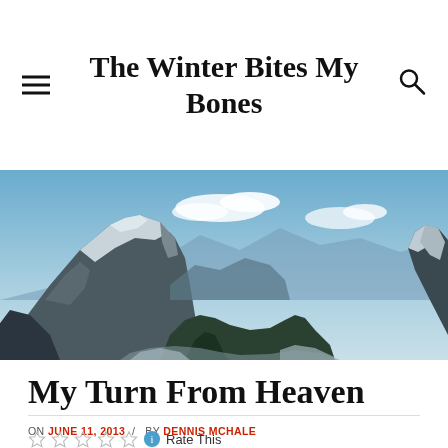The Winter Bites My Bones
[Figure (photo): Wide panoramic photo of snow-capped mountain peaks with a blue sky and clouds, valley visible between rocky peaks]
My Turn From Heaven
ON JUNE 11, 2013 / BY DENNIS MCHALE
Rate This